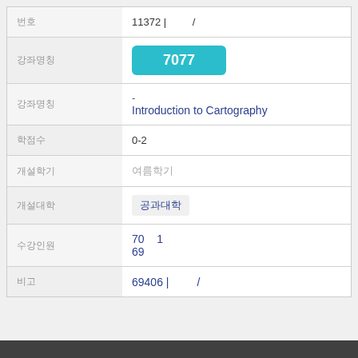| 번호 | 11372 |  / |
| 강좌명칭 | 7077 |
| 강좌명칭 | - Introduction to Cartography |
| 학점수 | 0-2 |
| 개설학기 | 여름학기 |
| 개설대학 | 공과대학 |
| 수강인원 | 70  1
69 |
| 비고 | 69406 |  / |